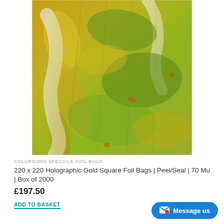[Figure (photo): Close-up photograph of holographic gold foil material with iridescent green, gold, and white reflections showing a crinkled metallic surface texture]
COLORSONO SPECIALE FOIL BAGS
220 x 220 Holographic Gold Square Foil Bags | Peel/Seal | 70 Mu | Box of 2000
£197.50
ADD TO BASKET
Message us